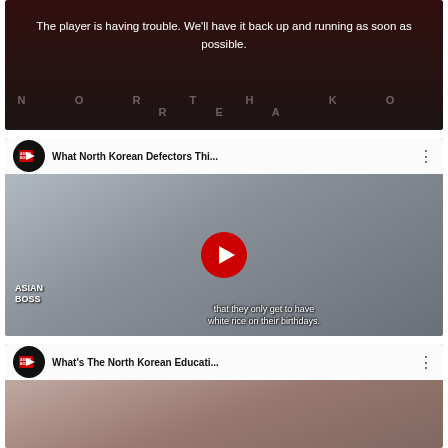[Figure (screenshot): Video player error screen with dark background and text overlay reading 'The player is having trouble. We'll have it back up and running as soon as possible.' with faint 'NORTH KOREA' watermark at bottom]
The player is having trouble. We'll have it back up and running as soon as possible.
[Figure (screenshot): YouTube video thumbnail for Asian Boss channel showing 'What North Korean Defectors Thi...' with a woman in denim shirt, subtitle text 'that they only get to have white rice on their birthdays.' and red YouTube play button]
[Figure (screenshot): YouTube video thumbnail for Asian Boss channel showing 'What's The North Korean Educati...' — partially visible at bottom of page]